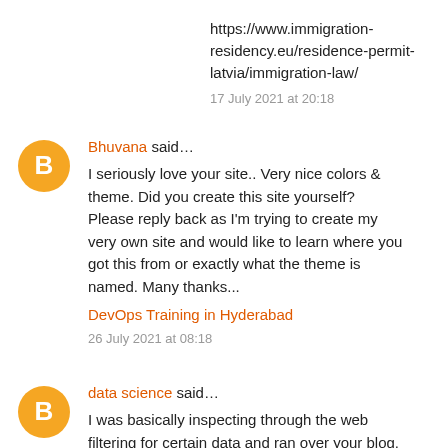https://www.immigration-residency.eu/residence-permit-latvia/immigration-law/
17 July 2021 at 20:18
Bhuvana said…
I seriously love your site.. Very nice colors & theme. Did you create this site yourself? Please reply back as I'm trying to create my very own site and would like to learn where you got this from or exactly what the theme is named. Many thanks...
DevOps Training in Hyderabad
26 July 2021 at 08:18
data science said…
I was basically inspecting through the web filtering for certain data and ran over your blog.